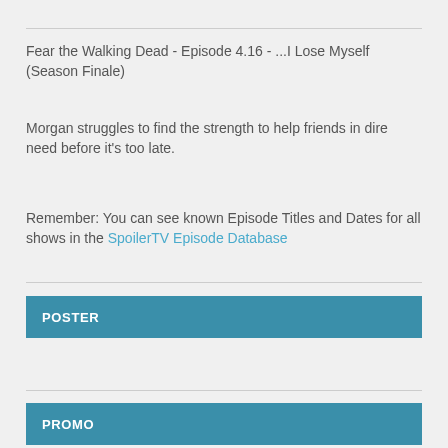Fear the Walking Dead - Episode 4.16 - ...I Lose Myself (Season Finale)
Morgan struggles to find the strength to help friends in dire need before it's too late.
Remember: You can see known Episode Titles and Dates for all shows in the SpoilerTV Episode Database
POSTER
PROMO
Thanks to Ron for the heads up.